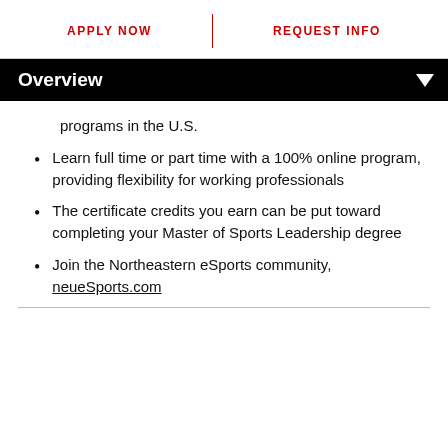APPLY NOW | REQUEST INFO
Overview
programs in the U.S.
Learn full time or part time with a 100% online program, providing flexibility for working professionals
The certificate credits you earn can be put toward completing your Master of Sports Leadership degree
Join the Northeastern eSports community, neueSports.com